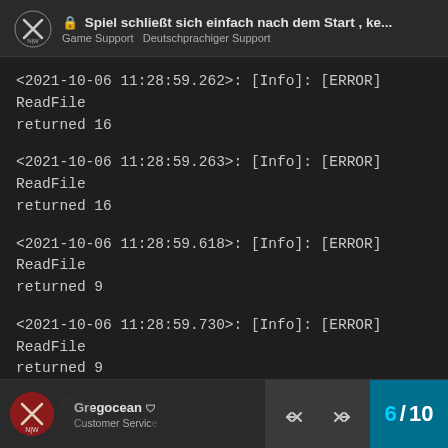🔒 Spiel schließt sich einfach nach dem Start , ke... Game Support  Deutschprachiger Support
<2021-10-06 11:28:59.262>: [Info]: [ERROR] ReadFile returned 16
<2021-10-06 11:28:59.263>: [Info]: [ERROR] ReadFile returned 16
<2021-10-06 11:28:59.618>: [Info]: [ERROR] ReadFile returned 9
<2021-10-06 11:28:59.730>: [Info]: [ERROR] ReadFile returned 9
<2021-10-06 11:28:59.770>: [Info]: [ERROR] ReadFile returned 9
Gregocean  Customer Service  6 / 10